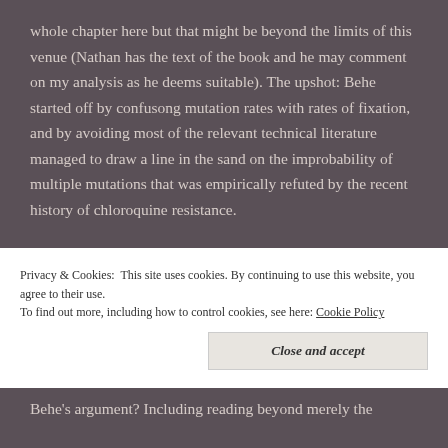whole chapter here but that might be beyond the limits of this venue (Nathan has the text of the book and he may comment on my analysis as he deems suitable). The upshot: Behe started off by confusong mutation rates with rates of fixation, and by avoiding most of the relevant technical literature managed to draw a line in the sand on the improbability of multiple mutations that was empirically refuted by the recent history of chloroquine resistance.

That Behe in turn sought to use this faulty argument to dismiss a priori the reptile-mammal transition data...
Privacy & Cookies: This site uses cookies. By continuing to use this website, you agree to their use.
To find out more, including how to control cookies, see here: Cookie Policy
Close and accept
Behe's argument? Including reading beyond merely the